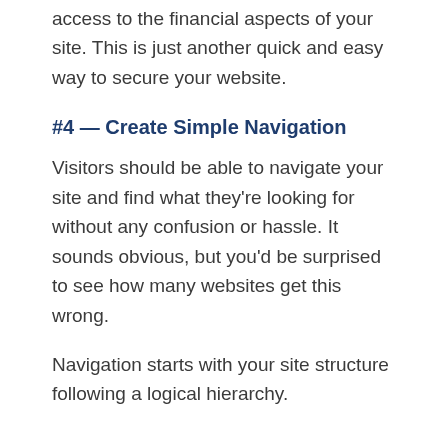access to the financial aspects of your site. This is just another quick and easy way to secure your website.
#4 — Create Simple Navigation
Visitors should be able to navigate your site and find what they're looking for without any confusion or hassle. It sounds obvious, but you'd be surprised to see how many websites get this wrong.
Navigation starts with your site structure following a logical hierarchy.